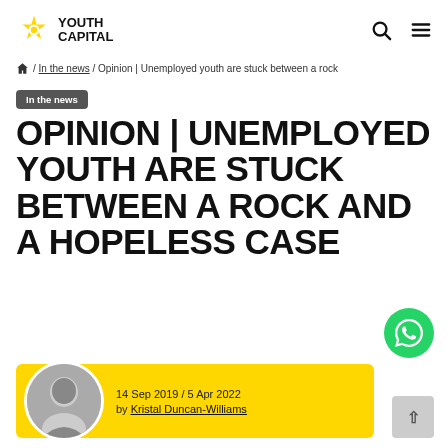Youth Capital — navigation header with logo, search and menu icons
🏠 / In the news / Opinion | Unemployed youth are stuck between a rock
In the news
OPINION | UNEMPLOYED YOUTH ARE STUCK BETWEEN A ROCK AND A HOPELESS CASE
14 Sep 2019 / 5 Apr 2022 by Kristal Duncan-Williams